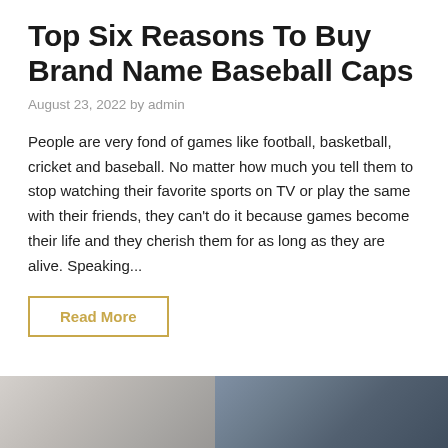Top Six Reasons To Buy Brand Name Baseball Caps
August 23, 2022 by admin
People are very fond of games like football, basketball, cricket and baseball. No matter how much you tell them to stop watching their favorite sports on TV or play the same with their friends, they can't do it because games become their life and they cherish them for as long as they are alive. Speaking...
Read More
[Figure (photo): Partial view of a photo showing two people, appearing to be in a handshake or greeting, one wearing a light blue shirt and another wearing a dark cap, cropped at the bottom of the page]